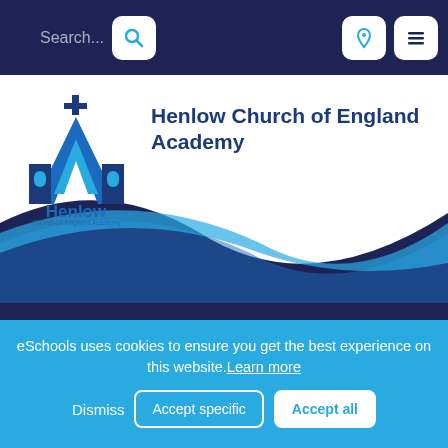[Figure (screenshot): Website screenshot of Henlow Church of England Academy with navigation bar, school logo, wave design, show menu button, issue title, and cookie consent banner]
Henlow Church of England Academy
Show Menu
Issue 14 Henlow Heart
eSchools uses cookies to ensure you get the best experience on this website. Learn more
Dismiss
Accept specific
Accept all